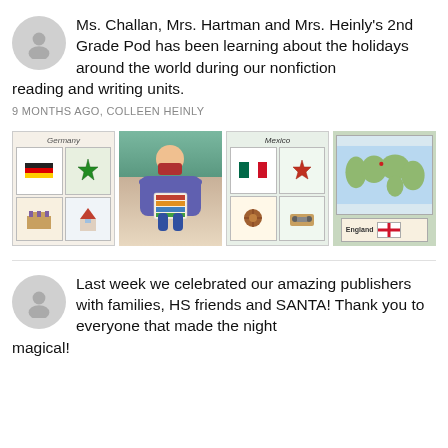Ms. Challan, Mrs. Hartman and Mrs. Heinly's 2nd Grade Pod has been learning about the holidays around the world during our nonfiction reading and writing units.
9 MONTHS AGO, COLLEEN HEINLY
[Figure (photo): Four classroom photos: a Germany holiday worksheet, a student holding a colorful paper, a Mexico holiday worksheet, and a world map with England flag card]
Last week we celebrated our amazing publishers with families, HS friends and SANTA! Thank you to everyone that made the night magical!